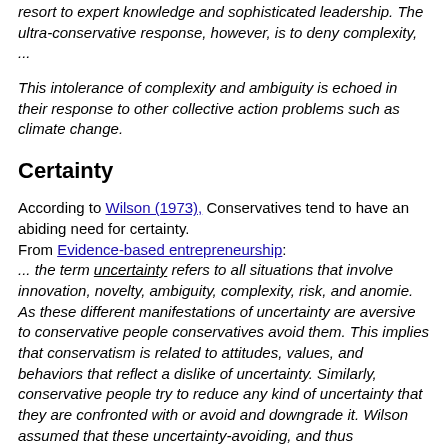resort to expert knowledge and sophisticated leadership. The ultra-conservative response, however, is to deny complexity, ...
This intolerance of complexity and ambiguity is echoed in their response to other collective action problems such as climate change.
Certainty
According to Wilson (1973), Conservatives tend to have an abiding need for certainty.
From Evidence-based entrepreneurship:
... the term uncertainty refers to all situations that involve innovation, novelty, ambiguity, complexity, risk, and anomie. As these different manifestations of uncertainty are aversive to conservative people conservatives avoid them. This implies that conservatism is related to attitudes, values, and behaviors that reflect a dislike of uncertainty. Similarly, conservative people try to reduce any kind of uncertainty that they are confronted with or avoid and downgrade it. Wilson assumed that these uncertainty-avoiding, and thus conservative, attitudes and behaviors serve an ego-defensive function. According to Wilson, “They arise as a means of simplifying, ordering, controlling, and rendering